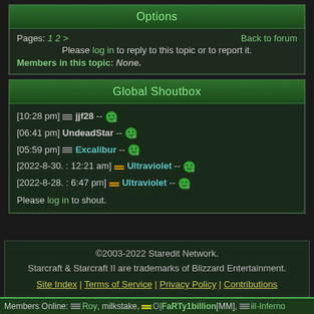Options
Pages: 1 2 >    Back to forum
Please log in to reply to this topic or to report it.
Members in this topic: None.
Global Shoutbox
[10:28 pm] jjf28 --
[06:41 pm] UndeadStar --
[05:59 pm] Excalibur --
[2022-8-30. : 12:21 am] Ultraviolet --
[2022-8-28. : 6:47 pm] Ultraviolet --
Please log in to shout.
©2003-2022 Staredit Network.
Starcraft & Starcraft II are trademarks of Blizzard Entertainment.
Site Index | Terms of Service | Privacy Policy | Contributions
Members Online: Roy, milkstake, O| FaRTy1billion[MM], ill-Inferno